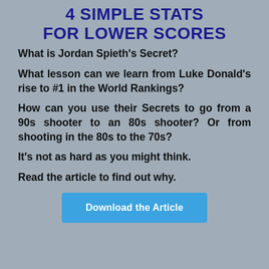4 SIMPLE STATS FOR LOWER SCORES
What is Jordan Spieth's Secret?
What lesson can we learn from Luke Donald's rise to #1 in the World Rankings?
How can you use their Secrets to go from a 90s shooter to an 80s shooter? Or from shooting in the 80s to the 70s?
It's not as hard as you might think.
Read the article to find out why.
Download the Article